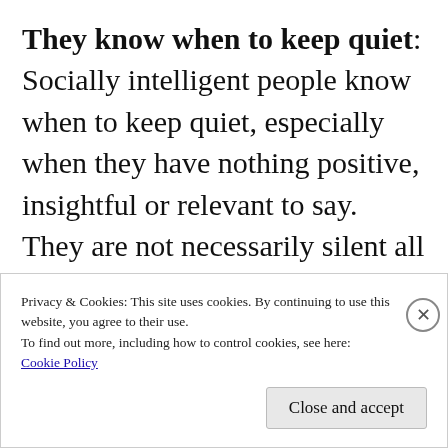They know when to keep quiet: Socially intelligent people know when to keep quiet, especially when they have nothing positive, insightful or relevant to say. They are not necessarily silent all the time but silence is a ready tool in their arsenal which they use when it's needed. When others find humour in racist, sexually gruesome and criminal jokes, they take the dignified hold on silence (if they don't call it out)
Privacy & Cookies: This site uses cookies. By continuing to use this website, you agree to their use. To find out more, including how to control cookies, see here: Cookie Policy
Close and accept